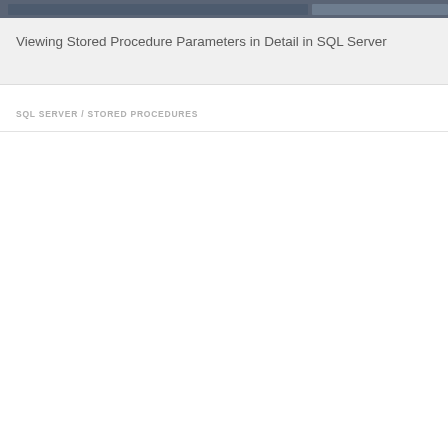Viewing Stored Procedure Parameters in Detail in SQL Server
Viewing Stored Procedure Parameters in Detail in SQL Server
SQL SERVER / STORED PROCEDURES